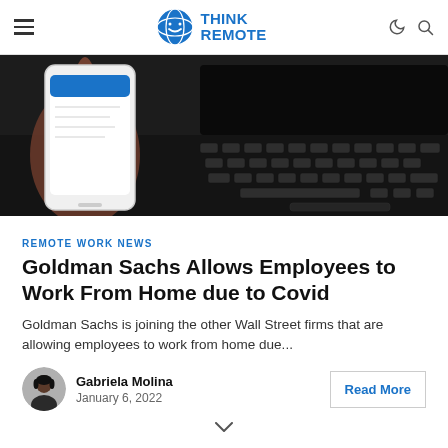THINK REMOTE
[Figure (photo): Close-up photo of a hand holding a white smartphone with a blue notification banner on the screen, placed near a dark laptop keyboard.]
REMOTE WORK NEWS
Goldman Sachs Allows Employees to Work From Home due to Covid
Goldman Sachs is joining the other Wall Street firms that are allowing employees to work from home due...
Gabriela Molina
January 6, 2022
Read More